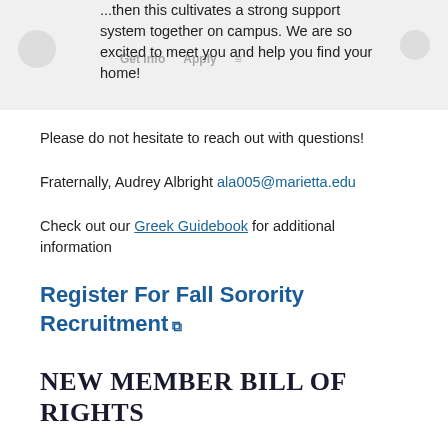...then this cultivates a strong support system together on campus. We are so excited to meet you and help you find your home!
Please do not hesitate to reach out with questions!
Fraternally, Audrey Albright ala005@marietta.edu
Check out our Greek Guidebook for additional information
Register For Fall Sorority Recruitment
NEW MEMBER BILL OF RIGHTS